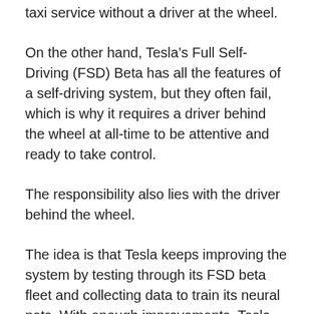taxi service without a driver at the wheel.
On the other hand, Tesla's Full Self-Driving (FSD) Beta has all the features of a self-driving system, but they often fail, which is why it requires a driver behind the wheel at all-time to be attentive and ready to take control.
The responsibility also lies with the driver behind the wheel.
The idea is that Tesla keeps improving the system by testing through its FSD beta fleet and collecting data to train its neural nets. With enough improvements, Tesla hopes that its FSD system will eventually become safe enough to use without driver monitoring it, but there have been doubts about making it happen after several missed timelines.